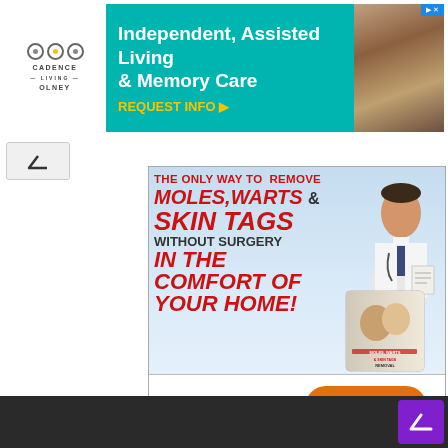[Figure (infographic): Top banner advertisement for Cadence Living Olney - Independent, Assisted Living & Memory Care with REQUEST INFO button]
[Figure (infographic): Advertisement for Moles, Warts & Skin Tags Removal product. Text: THE ONLY WAY TO REMOVE MOLES,WARTS & SKIN TAGS WITHOUT SURGERY IN THE COMFORT OF YOUR HOME! with CLICK HERE button. Shows doctor figure and product book image.]